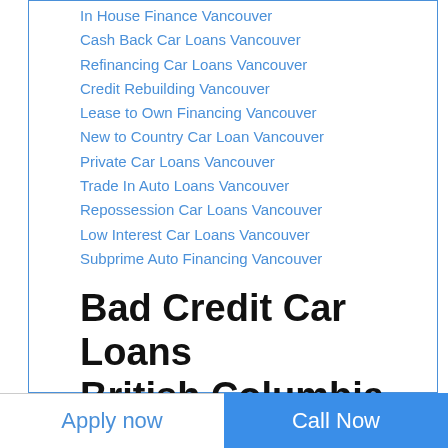In House Finance Vancouver
Cash Back Car Loans Vancouver
Refinancing Car Loans Vancouver
Credit Rebuilding Vancouver
Lease to Own Financing Vancouver
New to Country Car Loan Vancouver
Private Car Loans Vancouver
Trade In Auto Loans Vancouver
Repossession Car Loans Vancouver
Low Interest Car Loans Vancouver
Subprime Auto Financing Vancouver
Bad Credit Car Loans British Columbia
Penticton Bad Credit Car Loans
Maple Ridge Bad Credit Car Loans
Chilliwack Bad Credit Car Loans
Nanaimo Bad Credit Car Loans
Apply now
Call Now